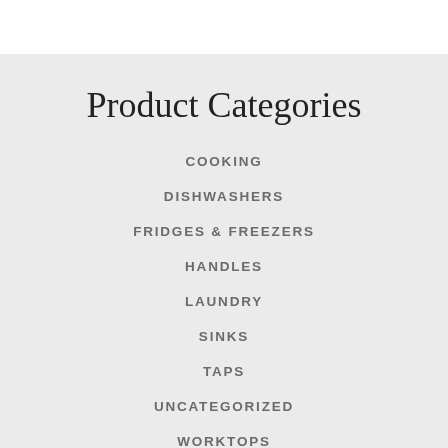Product Categories
COOKING
DISHWASHERS
FRIDGES & FREEZERS
HANDLES
LAUNDRY
SINKS
TAPS
UNCATEGORIZED
WORKTOPS